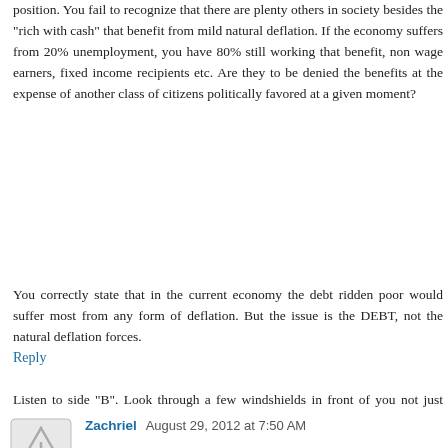position. You fail to recognize that there are plenty others in society besides the "rich with cash" that benefit from mild natural deflation. If the economy suffers from 20% unemployment, you have 80% still working that benefit, non wage earners, fixed income recipients etc. Are they to be denied the benefits at the expense of another class of citizens politically favored at a given moment?
You correctly state that in the current economy the debt ridden poor would suffer most from any form of deflation. But the issue is the DEBT, not the natural deflation forces.
Listen to side "B". Look through a few windshields in front of you not just your own.
Reply
Zachriel  August 29, 2012 at 7:50 AM
Mike M: Yet it is the obvious of the "A" side of the record and you're stuck on it.